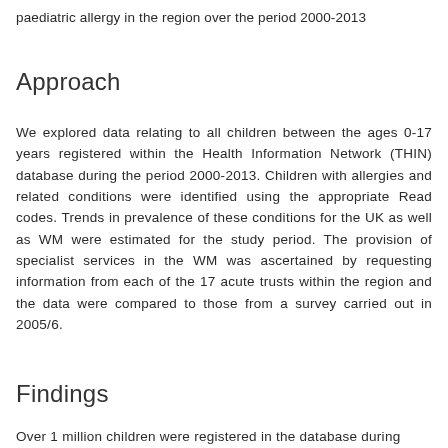paediatric allergy in the region over the period 2000-2013
Approach
We explored data relating to all children between the ages 0-17 years registered within the Health Information Network (THIN) database during the period 2000-2013. Children with allergies and related conditions were identified using the appropriate Read codes. Trends in prevalence of these conditions for the UK as well as WM were estimated for the study period. The provision of specialist services in the WM was ascertained by requesting information from each of the 17 acute trusts within the region and the data were compared to those from a survey carried out in 2005/6.
Findings
Over 1 million children were registered in the database during